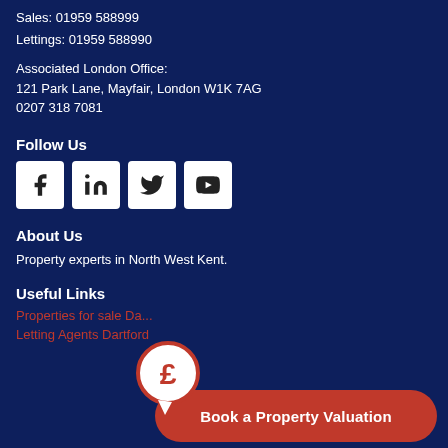Sales: 01959 588999
Lettings: 01959 588990
Associated London Office:
121 Park Lane, Mayfair, London W1K 7AG
0207 318 7081
Follow Us
[Figure (infographic): Four social media icon buttons: Facebook, LinkedIn, Twitter, YouTube]
About Us
Property experts in North West Kent.
Useful Links
Properties for sale Da...
Letting Agents Dartford
[Figure (infographic): Book a Property Valuation CTA button with pound sign speech bubble icon]